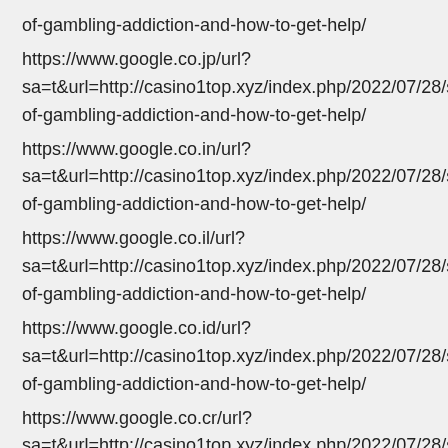of-gambling-addiction-and-how-to-get-help/
https://www.google.co.jp/url?
sa=t&url=http://casino1top.xyz/index.php/2022/07/28/signs-of-gambling-addiction-and-how-to-get-help/
https://www.google.co.in/url?
sa=t&url=http://casino1top.xyz/index.php/2022/07/28/signs-of-gambling-addiction-and-how-to-get-help/
https://www.google.co.il/url?
sa=t&url=http://casino1top.xyz/index.php/2022/07/28/signs-of-gambling-addiction-and-how-to-get-help/
https://www.google.co.id/url?
sa=t&url=http://casino1top.xyz/index.php/2022/07/28/signs-of-gambling-addiction-and-how-to-get-help/
https://www.google.co.cr/url?
sa=t&url=http://casino1top.xyz/index.php/2022/07/28/signs-